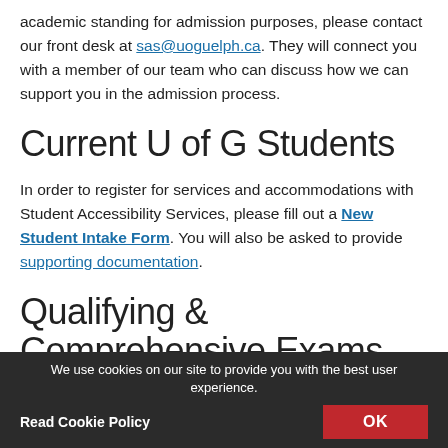academic standing for admission purposes, please contact our front desk at sas@uoguelph.ca. They will connect you with a member of our team who can discuss how we can support you in the admission process.
Current U of G Students
In order to register for services and accommodations with Student Accessibility Services, please fill out a New Student Intake Form. You will also be asked to provide supporting documentation.
Qualifying & Comprehensive Exams
Students registering with Student Accessibility
We use cookies on our site to provide you with the best user experience. Read Cookie Policy OK